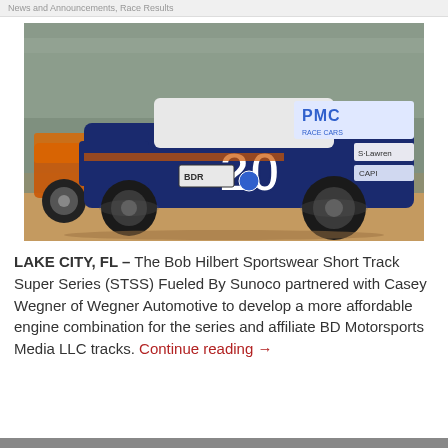News and Announcements, Race Results
[Figure (photo): A dirt track modified race car numbered 20 in blue and white livery with PMC and BDR sponsors, racing on a dirt oval track with motion blur in the background.]
LAKE CITY, FL – The Bob Hilbert Sportswear Short Track Super Series (STSS) Fueled By Sunoco partnered with Casey Wegner of Wegner Automotive to develop a more affordable engine combination for the series and affiliate BD Motorsports Media LLC tracks. Continue reading →